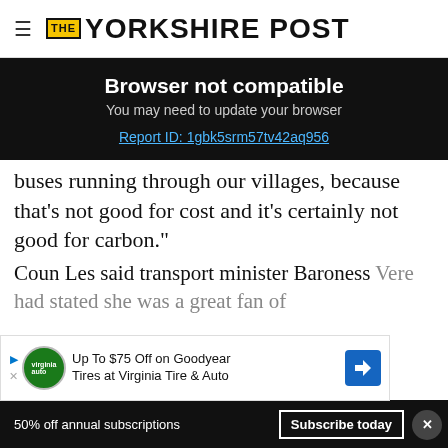THE YORKSHIRE POST
Browser not compatible
You may need to update your browser
Report ID: 1gbk5srm57tv42aq956
buses running through our villages, because that's not good for cost and it's certainly not good for carbon."
Coun Les said transport minister Baroness Vere had stated she was a great fan of demand-responsive transport at a recent meeting. He said: "I'm really hoping that the
[Figure (screenshot): Advertisement: Up To $75 Off on Goodyear Tires at Virginia Tire & Auto]
50% off annual subscriptions   Subscribe today